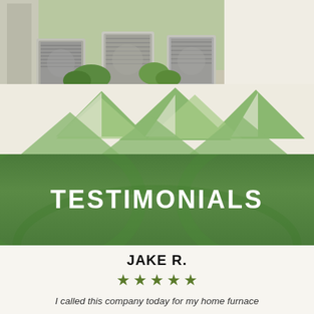[Figure (photo): Outdoor HVAC air conditioning units installed beside a house, with green lawn and shrubs in background]
[Figure (illustration): Decorative green triangle pattern, two rows of triangles forming a zigzag/mountain design in sage green]
TESTIMONIALS
JAKE R.
★ ★ ★ ★ ★
I called this company today for my home furnace